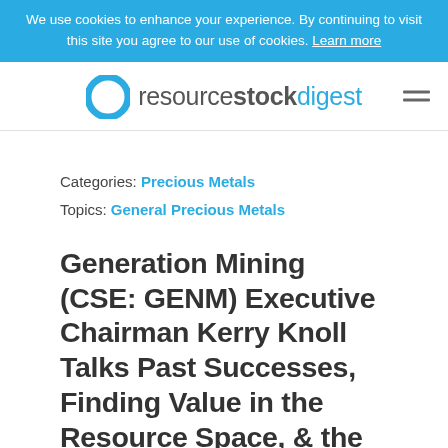We use cookies to enhance your experience. By continuing to visit this site you agree to our use of cookies. Learn more
[Figure (logo): Resource Stock Digest logo with teal/green circle icon and wordmark]
Categories: Precious Metals
Topics: General Precious Metals
Generation Mining (CSE: GENM) Executive Chairman Kerry Knoll Talks Past Successes, Finding Value in the Resource Space, & the Marathon Palladium Project